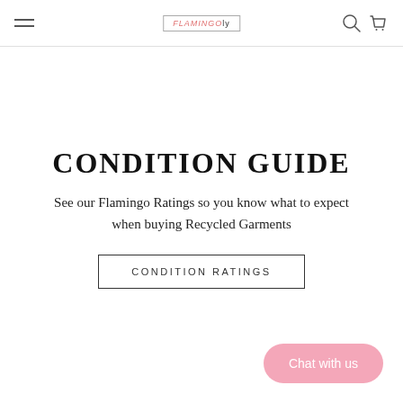Navigation header with hamburger menu, brand logo, search and cart icons
CONDITION GUIDE
See our Flamingo Ratings so you know what to expect when buying Recycled Garments
CONDITION RATINGS